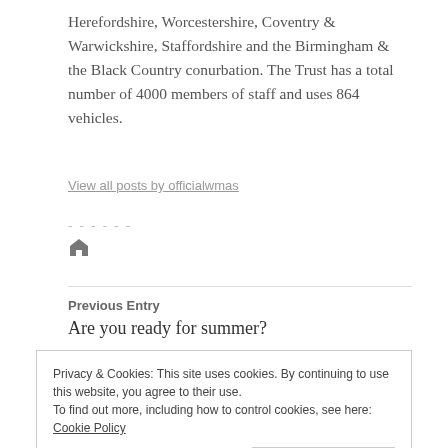Herefordshire, Worcestershire, Coventry & Warwickshire, Staffordshire and the Birmingham & the Black Country conurbation. The Trust has a total number of 4000 members of staff and uses 864 vehicles.
View all posts by officialwmas
-------
Previous Entry
Are you ready for summer?
Privacy & Cookies: This site uses cookies. By continuing to use this website, you agree to their use.
To find out more, including how to control cookies, see here: Cookie Policy
Close and accept